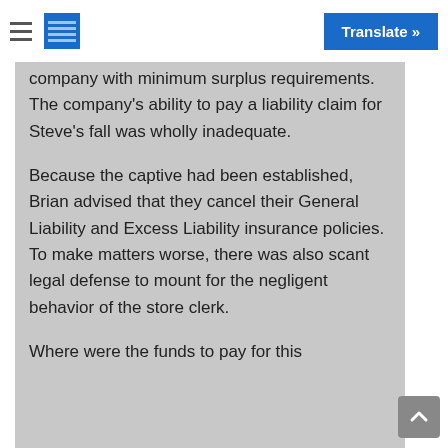Translate »
company with minimum surplus requirements. The company's ability to pay a liability claim for Steve's fall was wholly inadequate.
Because the captive had been established, Brian advised that they cancel their General Liability and Excess Liability insurance policies. To make matters worse, there was also scant legal defense to mount for the negligent behavior of the store clerk.
Where were the funds to pay for this